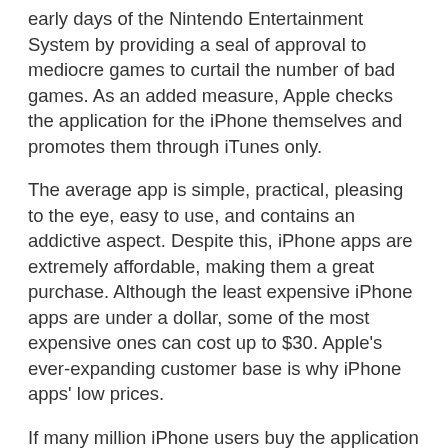early days of the Nintendo Entertainment System by providing a seal of approval to mediocre games to curtail the number of bad games. As an added measure, Apple checks the application for the iPhone themselves and promotes them through iTunes only.
The average app is simple, practical, pleasing to the eye, easy to use, and contains an addictive aspect. Despite this, iPhone apps are extremely affordable, making them a great purchase. Although the least expensive iPhone apps are under a dollar, some of the most expensive ones can cost up to $30. Apple's ever-expanding customer base is why iPhone apps' low prices.
If many million iPhone users buy the application from iTunes, an iPhone app developer can earn numerous million dollars. iPhone users can have many apps installed on their phones since most iPhone apps are affordable. The